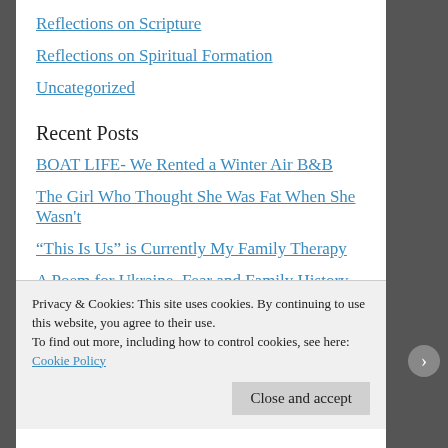Reflections on Scripture
Reflections on Spiritual Formation
Uncategorized
Recent Posts
BOAT LIFE- We Rented a Winter Air B&B
The Girl Who Thought She Was Fat When She Wasn't
“This Is Us” is Currently My Family Therapy
A Poem for Ukraine, Fear and Family History
Ruby Bridges Tells Me Her Story
Privacy & Cookies: This site uses cookies. By continuing to use this website, you agree to their use.
To find out more, including how to control cookies, see here: Cookie Policy
Close and accept